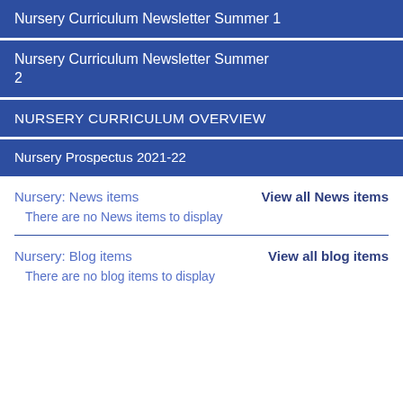Nursery Curriculum Newsletter Summer 1
Nursery Curriculum Newsletter Summer 2
NURSERY CURRICULUM OVERVIEW
Nursery Prospectus 2021-22
Nursery: News items
View all News items
There are no News items to display
Nursery: Blog items
View all blog items
There are no blog items to display